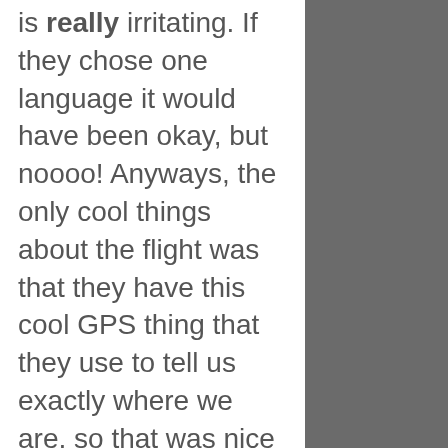is really irritating. If they chose one language it would have been okay, but noooo! Anyways, the only cool things about the flight was that they have this cool GPS thing that they use to tell us exactly where we are, so that was nice to see as we apprached land again. But also that we arrived 45 minutes ahead of schedule.

Whipping through customs was a breeze and the customs officer commented on me being so well dressed (weird: yes, disturbing: yes, flattering: yes, appropriate: no). Anyways, I